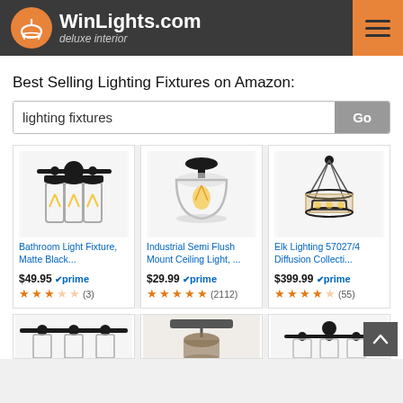[Figure (logo): WinLights.com logo with orange lamp icon on dark background, tagline 'deluxe interior', and orange hamburger menu button]
Best Selling Lighting Fixtures on Amazon:
[Figure (screenshot): Search bar with text 'lighting fixtures' and a 'Go' button]
[Figure (photo): Bathroom Light Fixture, Matte Black... product image showing 3-bulb black vanity light]
Bathroom Light Fixture, Matte Black...
$49.95 prime ★★★☆☆ (3)
[Figure (photo): Industrial Semi Flush Mount Ceiling Light product image showing round glass pendant]
Industrial Semi Flush Mount Ceiling Light, ...
$29.99 prime ★★★★★ (2112)
[Figure (photo): Elk Lighting 57027/4 Diffusion Collection pendant chandelier]
Elk Lighting 57027/4 Diffusion Collecti...
$399.99 prime ★★★★☆ (55)
[Figure (photo): Three partially visible product images in the bottom row of lighting fixtures]